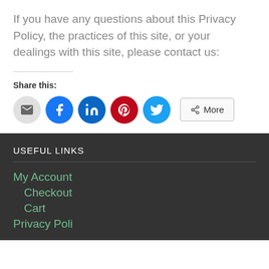If you have any questions about this Privacy Policy, the practices of this site, or your dealings with this site, please contact us:
Share this:
[Figure (infographic): Social share buttons: Email (grey circle), Facebook (blue circle), LinkedIn (dark blue circle), Pinterest (red circle), Twitter (light blue circle), and a More button]
USEFUL LINKS
My Account
Checkout
Cart
Privacy Policy